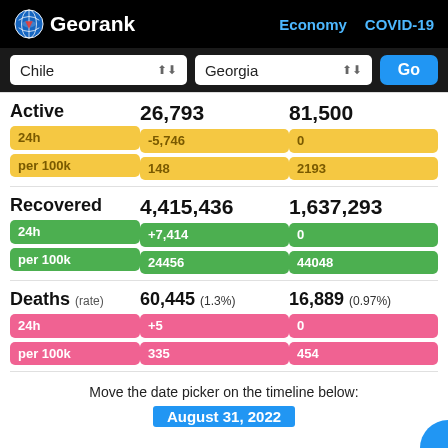Georank — Economy COVID-19
Chile | Georgia | Go
|  | Chile | Georgia |
| --- | --- | --- |
| Active | 26,793 | 81,500 |
| 24h | -5,746 | 0 |
| per 100k | 148 | 2193 |
| Recovered | 4,415,436 | 1,637,293 |
| 24h | +7,414 | 0 |
| per 100k | 24456 | 44048 |
| Deaths (rate) | 60,445 (1.3%) | 16,889 (0.97%) |
| 24h | +5 | 0 |
| per 100k | 335 | 454 |
Move the date picker on the timeline below:
August 31, 2022